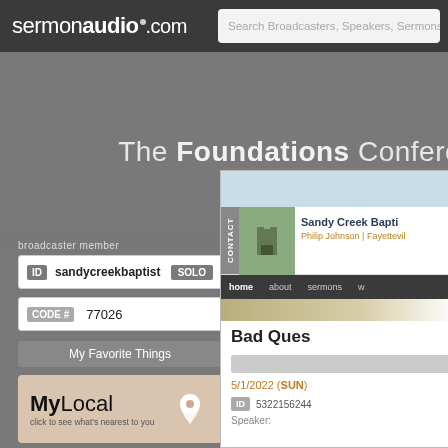[Figure (screenshot): SermonAudio.com website screenshot showing broadcaster member login panel and Sandy Creek Baptist Church page with sermon listing]
sermonaudio.com | Search Broadcasters, Speakers, Sermons,
The Foundations Conference
broadcaster member
ID sandycreekbaptist SOLO
CODE # 77026
My Favorite Things
MyLocal
click to see what's nearest to you
MyChurch
click to specify your home church
Sandy Creek Baptist
Philip Johnson | Fayetteville
home about sermons
Bad Questions
5/1/2022 (SUN)
ID 53221562444
Speaker: